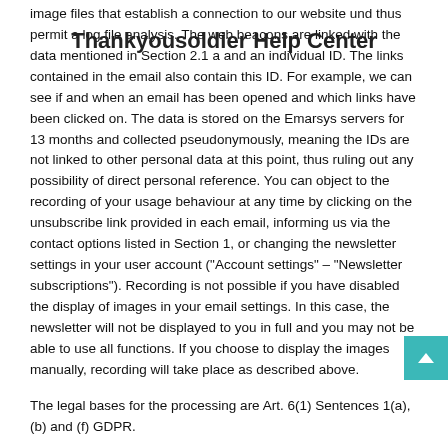Thankyousoldier Help Center
image files that establish a connection to our website und thus permit a log file analysis. The web beacons are linked with the data mentioned in Section 2.1 a and an individual ID. The links contained in the email also contain this ID. For example, we can see if and when an email has been opened and which links have been clicked on. The data is stored on the Emarsys servers for 13 months and collected pseudonymously, meaning the IDs are not linked to other personal data at this point, thus ruling out any possibility of direct personal reference. You can object to the recording of your usage behaviour at any time by clicking on the unsubscribe link provided in each email, informing us via the contact options listed in Section 1, or changing the newsletter settings in your user account ("Account settings" – "Newsletter subscriptions"). Recording is not possible if you have disabled the display of images in your email settings. In this case, the newsletter will not be displayed to you in full and you may not be able to use all functions. If you choose to display the images manually, recording will take place as described above.
The legal bases for the processing are Art. 6(1) Sentences 1(a), (b) and (f) GDPR.